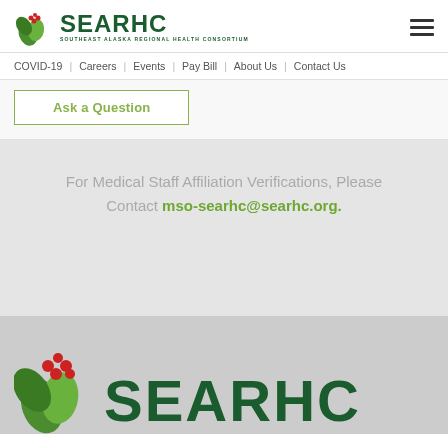SEARHC - SOUTHEAST ALASKA REGIONAL HEALTH CONSORTIUM
COVID-19 | Careers | Events | Pay Bill | About Us | Contact Us
Ask a Question
For Medical Staff Affiliation Verifications, Please Contact mso-searhc@searhc.org.
[Figure (logo): SEARHC logo with leaf/berry icon and text SEARHC in large dark green letters at bottom footer]